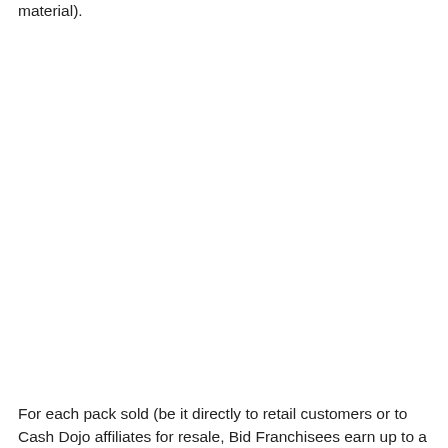material).
For each pack sold (be it directly to retail customers or to Cash Dojo affiliates for resale, Bid Franchisees earn up to a